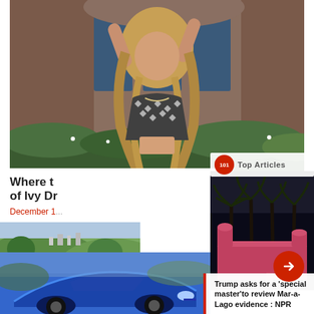[Figure (photo): Woman with long blonde hair wearing houndstooth crop top, arms raised, in front of a brick building with large windows]
Where t... of Ivy Dr...
December 1...
[Figure (photo): Top Articles label with red circle icon and globe/news logo]
[Figure (photo): Mar-a-Lago at night with palm trees silhouetted against illuminated pink/red building]
Trump asks for a ‘special master’to review Mar-a-Lago evidence : NPR
[Figure (photo): Green hillside landscape with city in background]
[Figure (photo): Blue sports car front/hood visible at bottom of page]